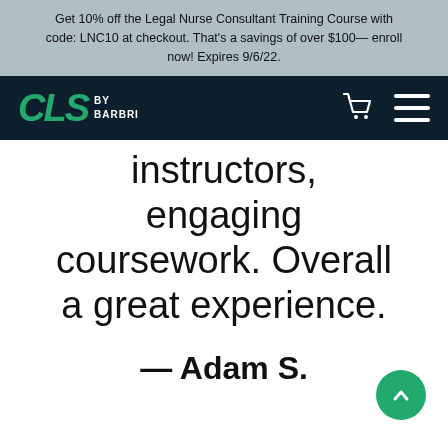Get 10% off the Legal Nurse Consultant Training Course with code: LNC10 at checkout. That's a savings of over $100— enroll now! Expires 9/6/22.
[Figure (logo): CLS by Barbri logo in green and white on dark navy background, with shopping cart and hamburger menu icons]
instructors, engaging coursework. Overall a great experience.
– Adam S.